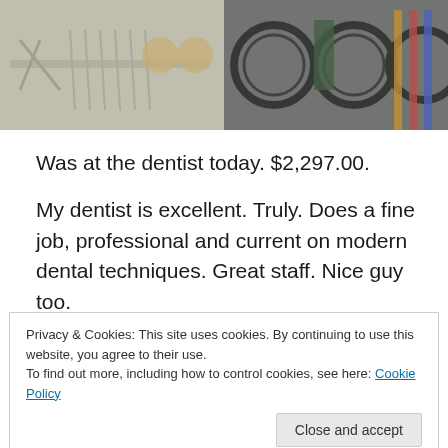[Figure (photo): Two side-by-side photos: left shows dental tools laid out on a surface, right shows bicycle wheels and equipment in a shop]
Was at the dentist today. $2,297.00.
My dentist is excellent. Truly. Does a fine job, professional and current on modern dental techniques. Great staff. Nice guy too.
As luck would have it my dentist is also a triathlete. While I was at his office I picked up his bike and brought it back to
Privacy & Cookies: This site uses cookies. By continuing to use this website, you agree to their use.
To find out more, including how to control cookies, see here: Cookie Policy
his bike tune-up that takes about the same time. And